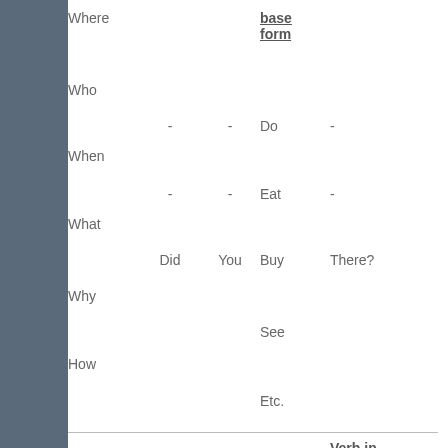|  |  |  | base form |  |
| --- | --- | --- | --- | --- |
| Where |  |  | base form |  |
| Who |  |  |  |  |
|  | - | - | Do | - |
| When |  |  |  |  |
|  | - | - | Eat | - |
| What |  |  |  |  |
|  | Did | You | Buy | There? |
| Why |  |  |  |  |
|  |  |  | See |  |
| How |  |  |  |  |
|  |  |  | Etc. |  |
|  |  |  |  | Verb in past simple |
| --- | --- | --- | --- | --- |
|  |  |  |  | Ate? |
| What | Was | The best thing | You | Saw? |